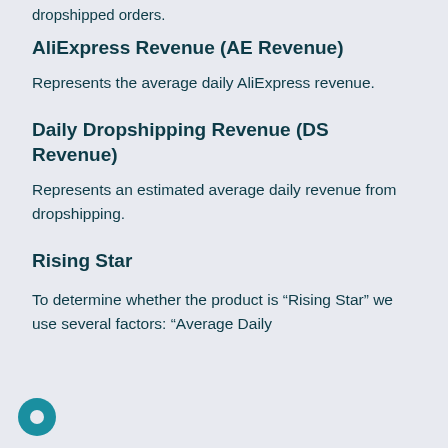dropshipped orders.
AliExpress Revenue (AE Revenue)
Represents the average daily AliExpress revenue.
Daily Dropshipping Revenue (DS Revenue)
Represents an estimated average daily revenue from dropshipping.
Rising Star
To determine whether the product is “Rising Star” we use several factors: “Average Daily